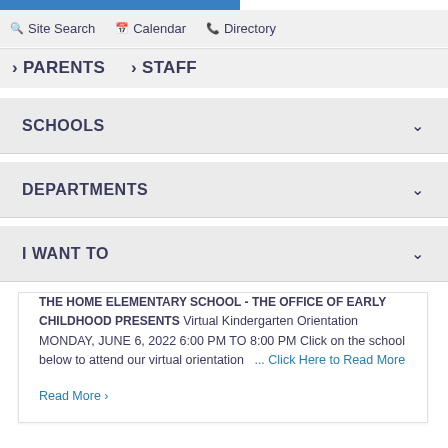Site Search   Calendar   Directory
> PARENTS   > STAFF
SCHOOLS
DEPARTMENTS
I WANT TO
THE HOME ELEMENTARY SCHOOL - THE OFFICE OF EARLY CHILDHOOD PRESENTS Virtual Kindergarten Orientation MONDAY, JUNE 6, 2022 6:00 PM TO 8:00 PM Click on the school below to attend our virtual orientation  ... Click Here to Read More
Read More >